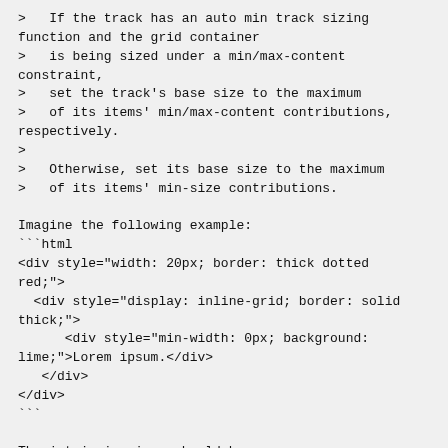>   If the track has an auto min track sizing function and the grid container
>   is being sized under a min/max-content constraint,
>   set the track's base size to the maximum
>   of its items' min/max-content contributions, respectively.
>
>   Otherwise, set its base size to the maximum
>   of its items' min-size contributions.
Imagine the following example:
```html
<div style="width: 20px; border: thick dotted red;">
  <div style="display: inline-grid; border: solid thick;">
      <div style="min-width: 0px; background: lime;">Lorem ipsum.</div>
   </div>
</div>
```
The intrinsic sizes should be:
* min-content size: The width of *Lorem*, let's say `50px`.
* max-content size: The width of *Lorem ipsum.*, let's say `100px`.